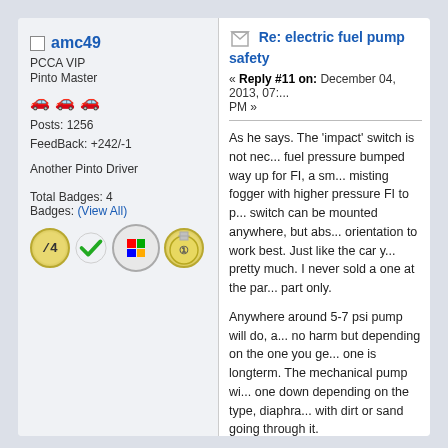amc49
PCCA VIP
Pinto Master
Posts: 1256
FeedBack: +242/-1
Another Pinto Driver
Total Badges: 4
Badges: (View All)
[Figure (illustration): Four forum badges: slash badge, green checkmark, Windows flag, medal #1]
Re: electric fuel pump safety
« Reply #11 on: December 04, 2013, 07:... PM »
As he says. The 'impact' switch is not nec... fuel pressure bumped way up for FI, a sm... misting fogger with higher pressure FI to p... switch can be mounted anywhere, but abs... orientation to work best. Just like the car y... pretty much. I never sold a one at the par... part only.
Anywhere around 5-7 psi pump will do, a... no harm but depending on the one you ge... one is longterm. The mechanical pump wi... one down depending on the type, diaphra... with dirt or sand going through it.
Ford FI needs no main pump power bypa... seconds at key on to prime the FI even if... back to tank anymore, rather they use a 'c... pump based on demand, it makes pump l...